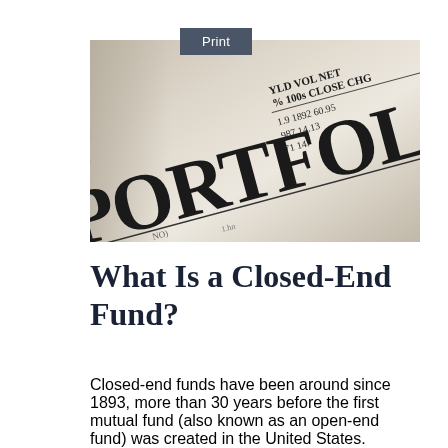Print
[Figure (photo): Close-up photograph of a newspaper financial page showing the word PORTFOLIO in large bold letters, with columns showing YLD VOL, % 100s CLOSE, NET CHG headers and financial data numbers including 1892, 60.95, 987, 14.13]
What Is a Closed-End Fund?
Closed-end funds have been around since 1893, more than 30 years before the first mutual fund (also known as an open-end fund) was created in the United States. However, closed-end funds are much